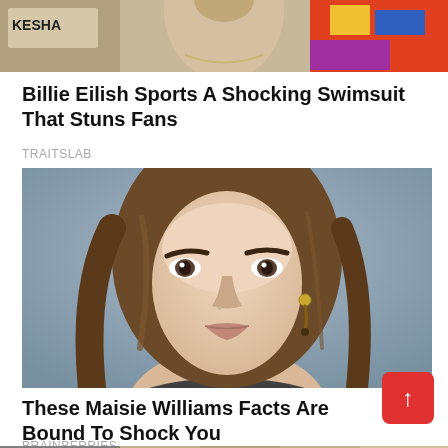[Figure (photo): Partial photo of a person with a Kesha poster visible in background, cropped at top]
Billie Eilish Sports A Shocking Swimsuit That Stuns Fans
TRAITSLAB
[Figure (photo): Close-up portrait of Maisie Williams with long brown hair and gold earring, against a blue-grey background]
These Maisie Williams Facts Are Bound To Shock You
BRAINBERRIES
[Figure (photo): Partial view of another article image at bottom, cropped]